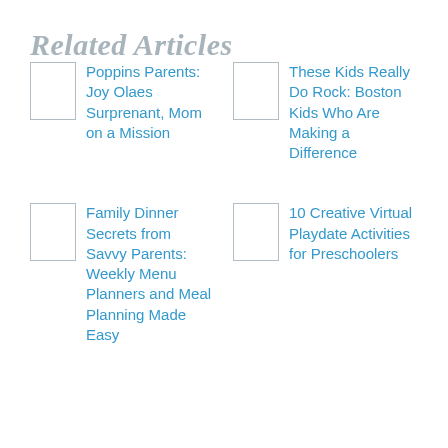Related Articles
Poppins Parents: Joy Olaes Surprenant, Mom on a Mission
These Kids Really Do Rock: Boston Kids Who Are Making a Difference
Family Dinner Secrets from Savvy Parents: Weekly Menu Planners and Meal Planning Made Easy
10 Creative Virtual Playdate Activities for Preschoolers